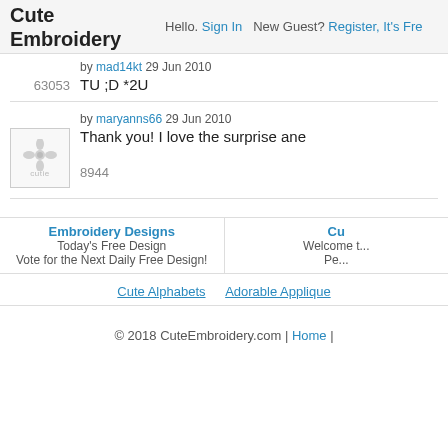Cute Embroidery — Hello. Sign In  New Guest? Register, It's Fre...
by mad14kt 29 Jun 2010
63053
TU ;D *2U
[Figure (illustration): Cutie placeholder avatar with floral/snowflake icon and 'cutie' text]
by maryanns66 29 Jun 2010
8944
Thank you! I love the surprise and...
Embroidery Designs
Today's Free Design
Vote for the Next Daily Free Design!
Cu...
Welcome t...
Pe...
Cute Alphabets    Adorable Applique
© 2018 CuteEmbroidery.com | Home |